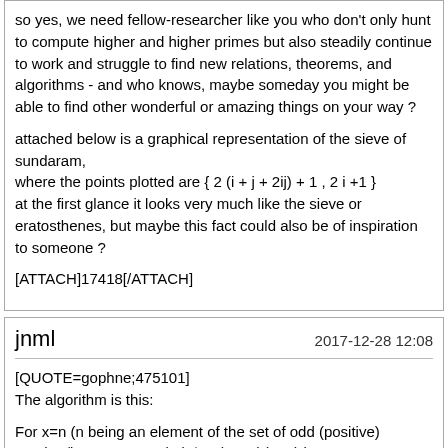so yes, we need fellow-researcher like you who don't only hunt to compute higher and higher primes but also steadily continue to work and struggle to find new relations, theorems, and algorithms - and who knows, maybe someday you might be able to find other wonderful or amazing things on your way ?

attached below is a graphical representation of the sieve of sundaram, where the points plotted are { 2 (i + j + 2ij) + 1 , 2 i +1 }
at the first glance it looks very much like the sieve or eratosthenes, but maybe this fact could also be of inspiration to someone ?

[ATTACH]17418[/ATTACH]
jnml | 2017-12-28 12:08

[QUOTE=gophne;475101]
The algorithm is this:

For x=n (n being an element of the set of odd (positive) number/integers, n=>1), (2^n-1) mod (n+2) is congruant to (n+1)/2 for all odd prime numbers, and non-congruant for all composites (barring false positives!!!!).
[/QUOTE]

FTR: IIUC, the algorithm fails as soon as for [TEX]M_7[/TEX].

[TEX]127 = 1 \pmod 9[/TEX]